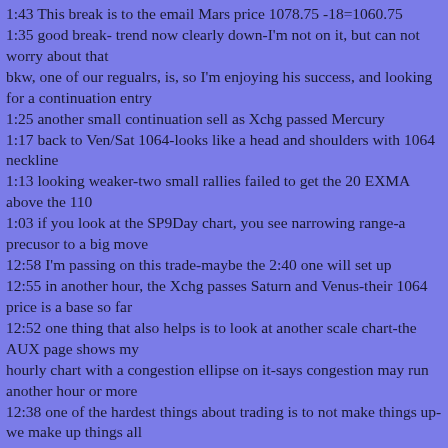1:43 This break is to the email Mars price 1078.75 -18=1060.75
1:35 good break- trend now clearly down-I'm not on it, but can not worry about that
bkw, one of our regualrs, is, so I'm enjoying his success, and looking for a continuation entry
1:25 another small continuation sell as Xchg passed Mercury
1:17 back to Ven/Sat 1064-looks like a head and shoulders with 1064 neckline
1:13 looking weaker-two small rallies failed to get the 20 EXMA above the 110
1:03 if you look at the SP9Day chart, you see narrowing range-a precusor to a big move
12:58 I'm passing on this trade-maybe the 2:40 one will set up
12:55 in another hour, the Xchg passes Saturn and Venus-their 1064 price is a base so far
12:52 one thing that also helps is to look at another scale chart-the AUX page shows my
hourly chart with a congestion ellipse on it-says congestion may run another hour or more
12:38 one of the hardest things about trading is to not make things up-we make up things all
the time-like reasons why someone did something, when we really don't know-we also tend to
see little price moves as major trends, and only the ones we like - leaving for a while helps